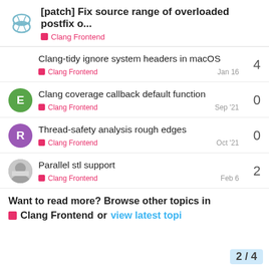[patch] Fix source range of overloaded postfix o... — Clang Frontend
Clang-tidy ignore system headers in macOS — Clang Frontend — Jan 16 — 4 replies
Clang coverage callback default function — Clang Frontend — Sep '21 — 0 replies
Thread-safety analysis rough edges — Clang Frontend — Oct '21 — 0 replies
Parallel stl support — Clang Frontend — Feb 6 — 2 replies
Want to read more? Browse other topics in Clang Frontend or view latest topi
2 / 4